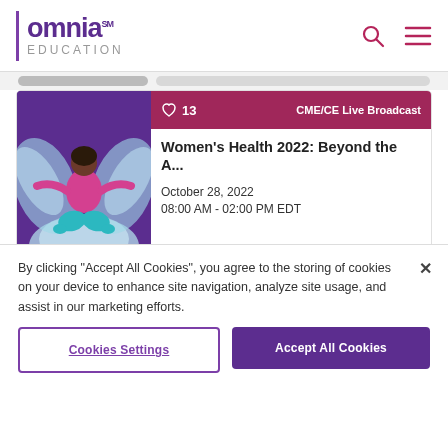omnia EDUCATION
[Figure (illustration): Card image: woman sitting cross-legged in yoga pose with purple and blue abstract wings/clouds background]
♥ 13   CME/CE Live Broadcast
Women's Health 2022: Beyond the A...
October 28, 2022
08:00 AM - 02:00 PM EDT
[Figure (illustration): Partial card image with purple background]
♥ 6   CME/CE Live Broadcast
By clicking "Accept All Cookies", you agree to the storing of cookies on your device to enhance site navigation, analyze site usage, and assist in our marketing efforts.
Cookies Settings
Accept All Cookies